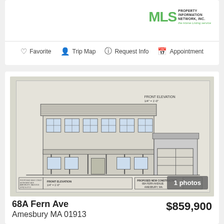[Figure (logo): MLS Property Information Network Inc. logo with green MLS text and tagline 'the Home Listing service']
Favorite  Trip Map  Request Info  Appointment
[Figure (engineering-diagram): Blueprint/architectural front elevation drawing of proposed new construction house at 68A Fern Avenue, Amesbury MA. Shows a two-story colonial style house with covered porch, multiple windows, and attached two-car garage. Labels: 'FRONT ELEVATION 1/4"=1'-0"' and 'PROPOSED NEW CONSTRUCTION 68A FERN AVENUE AMESBURY, MA.']
1 photos
68A Fern Ave
$859,900
Amesbury MA 01913